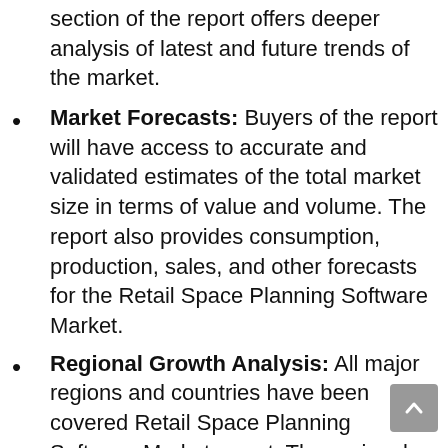section of the report offers deeper analysis of latest and future trends of the market.
Market Forecasts: Buyers of the report will have access to accurate and validated estimates of the total market size in terms of value and volume. The report also provides consumption, production, sales, and other forecasts for the Retail Space Planning Software Market.
Regional Growth Analysis: All major regions and countries have been covered Retail Space Planning Software Market report. The regional analysis will help market players to tap into...